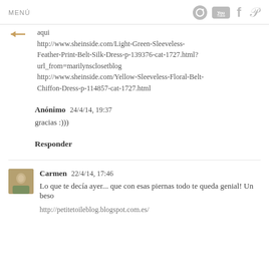MENÚ
aqui
http://www.sheinside.com/Light-Green-Sleeveless-Feather-Print-Belt-Silk-Dress-p-139376-cat-1727.html?url_from=marilynsclosetblog
http://www.sheinside.com/Yellow-Sleeveless-Floral-Belt-Chiffon-Dress-p-114857-cat-1727.html
Anónimo  24/4/14, 19:37
gracias :)))
Responder
Carmen  22/4/14, 17:46
Lo que te decía ayer... que con esas piernas todo te queda genial! Un beso
http://petitetoileblog.blogspot.com.es/